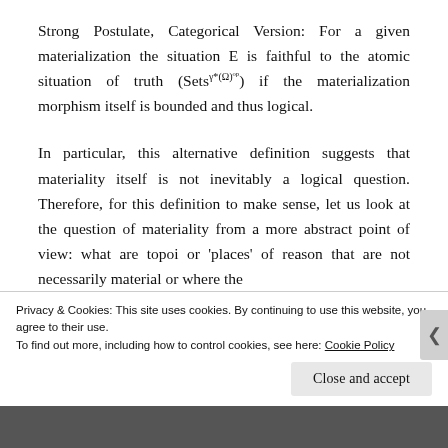Strong Postulate, Categorical Version: For a given materialization the situation E is faithful to the atomic situation of truth (Sets^{γ*(Ω)^op}) if the materialization morphism itself is bounded and thus logical.
In particular, this alternative definition suggests that materiality itself is not inevitably a logical question. Therefore, for this definition to make sense, let us look at the question of materiality from a more abstract point of view: what are topoi or 'places' of reason that are not necessarily material or where the
Privacy & Cookies: This site uses cookies. By continuing to use this website, you agree to their use.
To find out more, including how to control cookies, see here: Cookie Policy
Close and accept